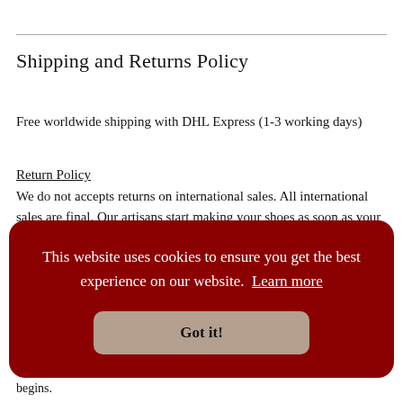Shipping and Returns Policy
Free worldwide shipping with DHL Express (1-3 working days)
Return Policy
We do not accepts returns on international sales. All international sales are final. Our artisans start making your shoes as soon as your order is placed. Thus, all international sales are final due to the made-to-order nature of our handmade products. If you
This website uses cookies to ensure you get the best experience on our website. Learn more
Got it!
begins.